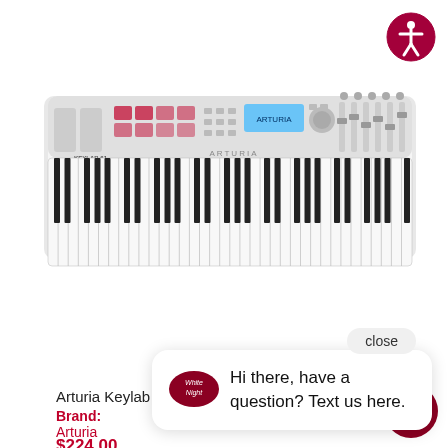[Figure (photo): Accessibility icon button, dark red circle with white person figure, top right corner]
[Figure (photo): Arturia Keylab 61 Essential MIDI keyboard controller, white, top-down view showing keys, pads, knobs, faders, and display]
close
[Figure (other): Chat popup bubble with logo icon and text: Hi there, have a question? Text us here.]
Arturia Keylab 61 Essential
Brand:
Arturia
$224.00
[Figure (other): Chat FAB button, dark red circle with white chat/message icon, bottom right corner]